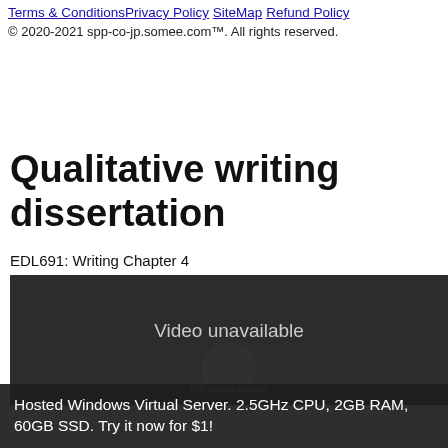Terms & Conditions Privacy Policy SiteMap Refund Policy
© 2020-2021 spp-co-jp.somee.com™. All rights reserved.
Qualitative writing dissertation
EDL691: Writing Chapter 4
[Figure (screenshot): Dark video player showing 'Video unavailable' message with video owner watermark]
Hosted Windows Virtual Server. 2.5GHz CPU, 2GB RAM, 60GB SSD. Try it now for $1!